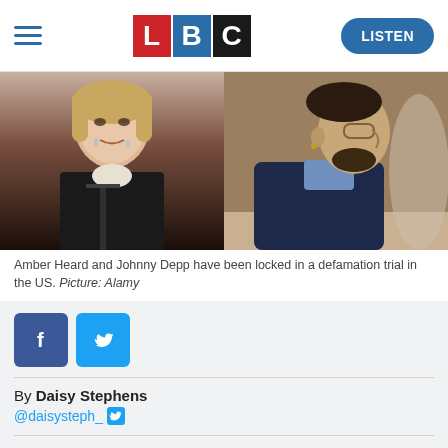LBC — LISTEN
[Figure (photo): Side-by-side courtroom photos: left shows Amber Heard crying at a microphone, right shows Johnny Depp in profile wearing glasses and a blue suit]
Amber Heard and Johnny Depp have been locked in a defamation trial in the US. Picture: Alamy
[Figure (illustration): Facebook and Twitter share buttons]
By Daisy Stephens
@daisysteph_
Amber Heard has been accused of